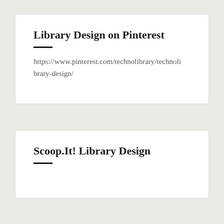Library Design on Pinterest
https://www.pinterest.com/technolibrary/technolibrary-design/
Scoop.It! Library Design
What I write about